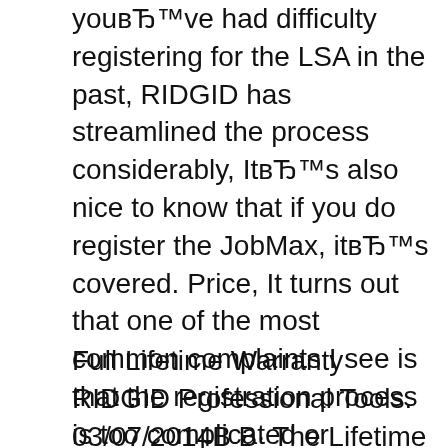youвЂ™ve had difficulty registering for the LSA in the past, RIDGID has streamlined the process considerably, ItвЂ™s also nice to know that if you do register the JobMax, itвЂ™s covered. Price, It turns out that one of the most common complaints I see is that the registration process is too complicated or something goes wrong. While IвЂ™m not here to offer excuses, I am excited to see that the Ridgid Lifetime Service Agreement registration is now a process thatвЂ™s completely online..
Full Lifetime Warranty RIDGID Professional Tools. 03/07/2014В В· The Lifetime Service Agreement on RIDGIDВ© Hand Held Power Tools